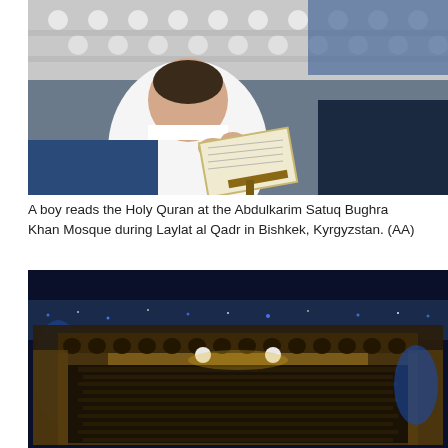[Figure (photo): A boy in white clothing reads the Holy Quran on a wooden stand at a mosque, with ornate white geometric lattice screen behind him.]
A boy reads the Holy Quran at the Abdulkarim Satuq Bughra Khan Mosque during Laylat al Qadr in Bishkek, Kyrgyzstan. (AA)
[Figure (photo): Aerial night view of a large mosque courtyard filled with thousands of worshippers praying, illuminated by warm lights against a dark blue city skyline.]